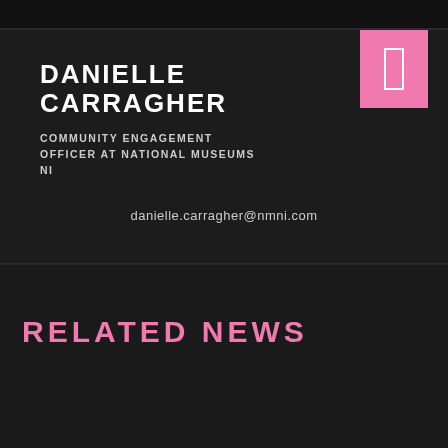DANIELLE CARRAGHER
COMMUNITY ENGAGEMENT OFFICER AT NATIONAL MUSEUMS NI
danielle.carragher@nmni.com
RELATED NEWS